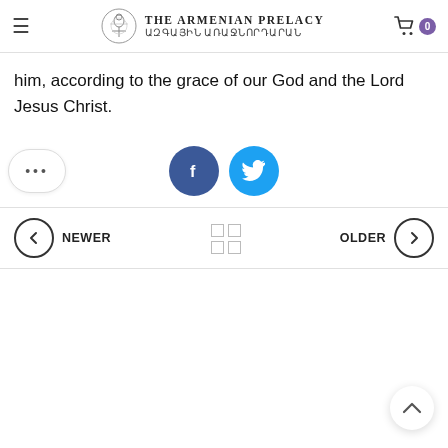The Armenian Prelacy / ԱԶԳԱՅԻՆ ԱՌԱՋՆՈՐԴԱՐԱՆ
him, according to the grace of our God and the Lord Jesus Christ.
[Figure (other): Social share buttons: more options (…), Facebook share button (dark blue circle with 'f'), Twitter share button (cyan circle with bird icon)]
[Figure (other): Navigation row with NEWER (left arrow circle), grid/home icon in center, OLDER (right arrow circle)]
[Figure (other): Back to top button (upward chevron in white circle) at bottom right]